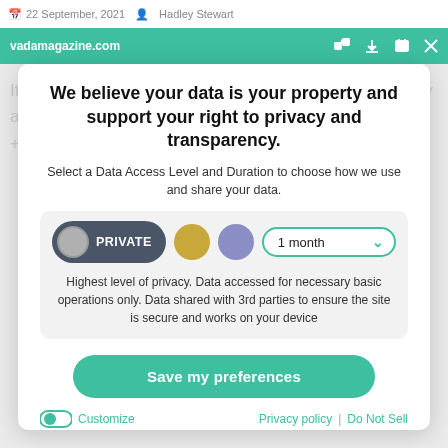22 September, 2021 · Hadley Stewart
vadamagazine.com
We believe your data is your property and support your right to privacy and transparency.
Select a Data Access Level and Duration to choose how we use and share your data.
[Figure (infographic): Privacy level selector showing PRIVATE option selected (dark pill with grey circle), a yellow circle option, a purple circle option, and a 1 month dropdown selector with teal border]
Highest level of privacy. Data accessed for necessary basic operations only. Data shared with 3rd parties to ensure the site is secure and works on your device
Save my preferences
Customize
Privacy policy | Do Not Sell